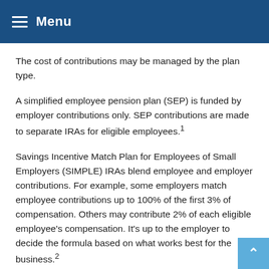Menu
The cost of contributions may be managed by the plan type.
A simplified employee pension plan (SEP) is funded by employer contributions only. SEP contributions are made to separate IRAs for eligible employees.¹
Savings Incentive Match Plan for Employees of Small Employers (SIMPLE) IRAs blend employee and employer contributions. For example, some employers match employee contributions up to 100% of the first 3% of compensation. Others may contribute 2% of each eligible employee's compensation. It's up to the employer to decide the formula based on what works best for the business.²
A 401(k) is primarily funded by the employee; the